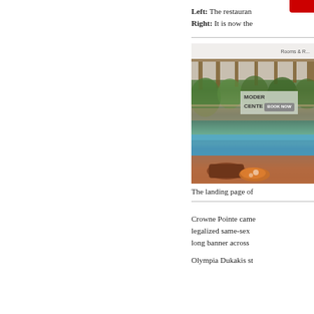Left: The restaurant... Right: It is now the...
[Figure (screenshot): Landing page of a venue/hotel with outdoor pool and pergola area, advertisement for Modern Center with Book Now button]
The landing page of...
Crowne Pointe came... legalized same-sex... long banner across...
Olympia Dukakis st...